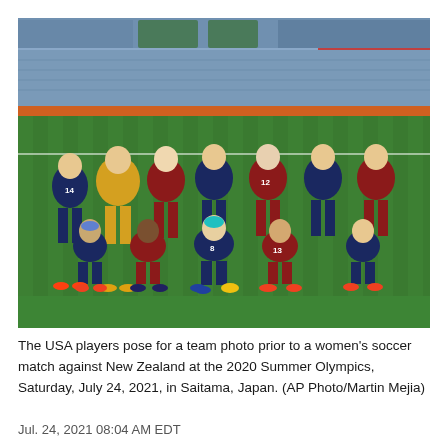[Figure (photo): Team photo of USA women's soccer players posing on a green stadium field before a match against New Zealand at the 2020 Summer Olympics. Players are wearing navy and red striped uniforms. The goalkeeper is in yellow. Stadium seats visible in the background.]
The USA players pose for a team photo prior to a women's soccer match against New Zealand at the 2020 Summer Olympics, Saturday, July 24, 2021, in Saitama, Japan. (AP Photo/Martin Mejia)
Jul. 24, 2021 08:04 AM EDT